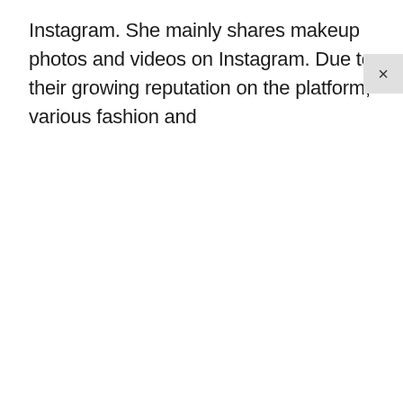Instagram. She mainly shares makeup photos and videos on Instagram. Due to their growing reputation on the platform, various fashion and